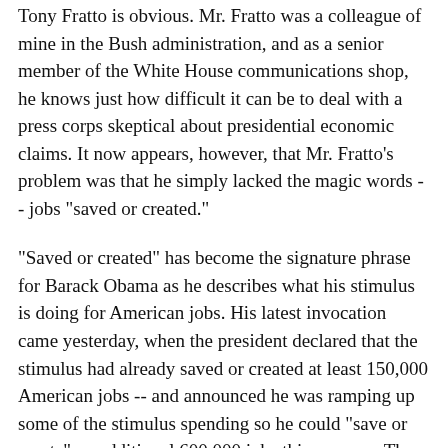Tony Fratto is obvious. Mr. Fratto was a colleague of mine in the Bush administration, and as a senior member of the White House communications shop, he knows just how difficult it can be to deal with a press corps skeptical about presidential economic claims. It now appears, however, that Mr. Fratto's problem was that he simply lacked the magic words -- jobs "saved or created."
"Saved or created" has become the signature phrase for Barack Obama as he describes what his stimulus is doing for American jobs. His latest invocation came yesterday, when the president declared that the stimulus had already saved or created at least 150,000 American jobs -- and announced he was ramping up some of the stimulus spending so he could "save or create" an additional 600,000 jobs this summer. These numbers come in the context of an earlier Obama promise that his recovery plan will "save or create three to four million jobs over the next two years."